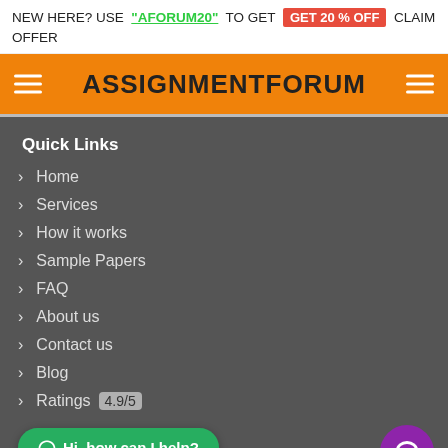NEW HERE? USE "AFORUM20" TO GET GET 20 % OFF CLAIM OFFER
ASSIGNMENTFORUM
Quick Links
Home
Services
How it works
Sample Papers
FAQ
About us
Contact us
Blog
Ratings 4.9/5
Hi, how can I help?